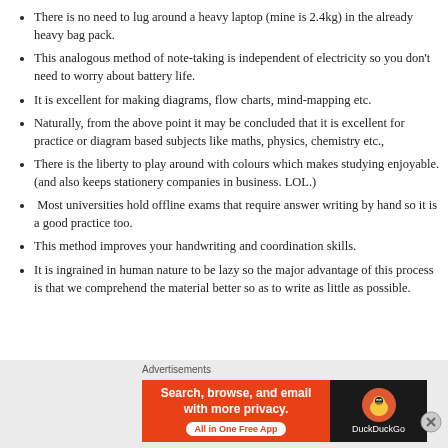There is no need to lug around a heavy laptop (mine is 2.4kg) in the already heavy bag pack.
This analogous method of note-taking is independent of electricity so you don't need to worry about battery life.
It is excellent for making diagrams, flow charts, mind-mapping etc.
Naturally, from the above point it may be concluded that it is excellent for practice or diagram based subjects like maths, physics, chemistry etc.,
There is the liberty to play around with colours which makes studying enjoyable. (and also keeps stationery companies in business. LOL.)
Most universities hold offline exams that require answer writing by hand so it is a good practice too.
This method improves your handwriting and coordination skills.
It is ingrained in human nature to be lazy so the major advantage of this process is that we comprehend the material better so as to write as little as possible.
[Figure (infographic): DuckDuckGo advertisement banner: orange left panel with text 'Search, browse, and email with more privacy. All in One Free App' and dark right panel with DuckDuckGo duck logo and 'DuckDuckGo' label. Preceded by 'Advertisements' label.]